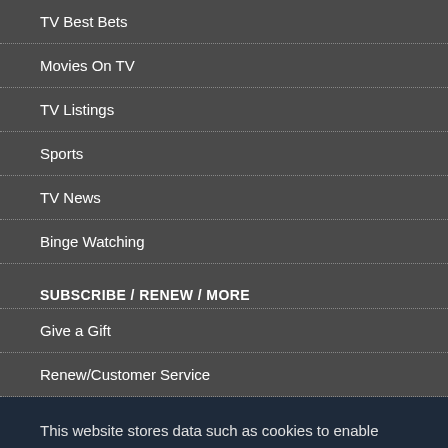TV Best Bets
Movies On TV
TV Listings
Sports
TV News
Binge Watching
SUBSCRIBE / RENEW / MORE
Give a Gift
Renew/Customer Service
This website stores data such as cookies to enable essential site functionality, as well as marketing, personalization, and analytics. By remaining on this website you indicate your consent. Privacy Policy